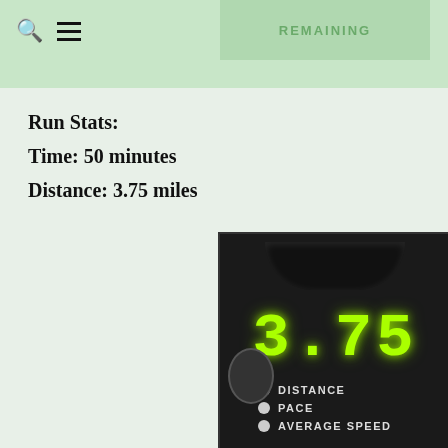REMAINING
Run Stats:
Time: 50 minutes
Distance: 3.75 miles
[Figure (photo): Treadmill display panel showing the number 3.75 in green LED digits, with DISTANCE, PACE, and AVERAGE SPEED labels below with indicator dots.]